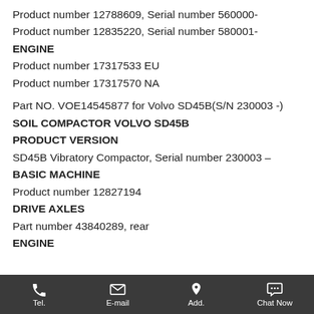Product number 12788609, Serial number 560000-
Product number 12835220, Serial number 580001-
ENGINE
Product number 17317533 EU
Product number 17317570 NA
Part NO. VOE14545877 for Volvo SD45B(S/N 230003 -)
SOIL COMPACTOR VOLVO SD45B
PRODUCT VERSION
SD45B Vibratory Compactor, Serial number 230003 –
BASIC MACHINE
Product number 12827194
DRIVE AXLES
Part number 43840289, rear
ENGINE
Tel. | E-mail | Add. | Chat Now